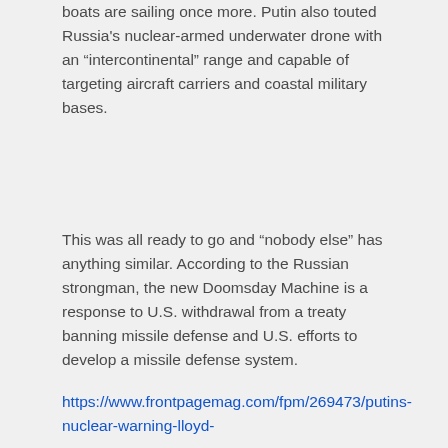boats are sailing once more. Putin also touted Russia's nuclear-armed underwater drone with an “intercontinental” range and capable of targeting aircraft carriers and coastal military bases.
This was all ready to go and “nobody else” has anything similar. According to the Russian strongman, the new Doomsday Machine is a response to U.S. withdrawal from a treaty banning missile defense and U.S. efforts to develop a missile defense system.
https://www.frontpagemag.com/fpm/269473/putins-nuclear-warning-lloyd-